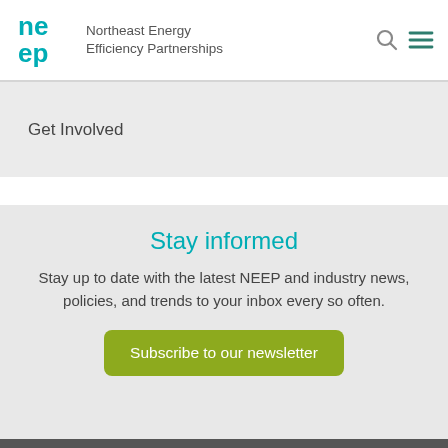Northeast Energy Efficiency Partnerships
Get Involved
Stay informed
Stay up to date with the latest NEEP and industry news, policies, and trends to your inbox every so often.
Subscribe to our newsletter